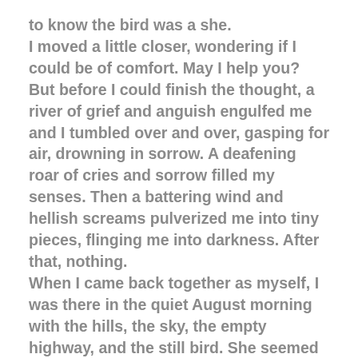to know the bird was a she. I moved a little closer, wondering if I could be of comfort. May I help you? But before I could finish the thought, a river of grief and anguish engulfed me and I tumbled over and over, gasping for air, drowning in sorrow. A deafening roar of cries and sorrow filled my senses. Then a battering wind and hellish screams pulverized me into tiny pieces, flinging me into darkness. After that, nothing. When I came back together as myself, I was there in the quiet August morning with the hills, the sky, the empty highway, and the still bird. She seemed calmer now. The shuddering had stopped. Are you all right? I asked. Are you able to fly? And again, instantly, I was drawn out of myself in a sickening swoop over mountains. We dove into the